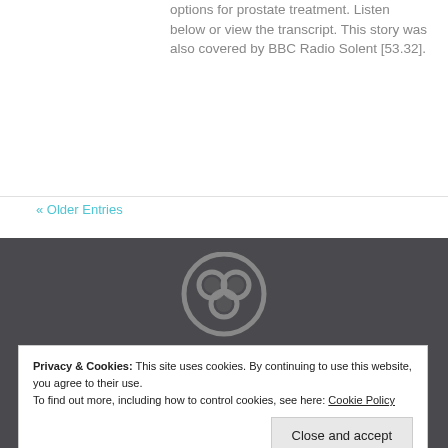options for prostate treatment. Listen below or view the transcript. This story was also covered by BBC Radio Solent [53.32].
« Older Entries
[Figure (logo): Circular logo with interlocking rings on dark grey footer background]
Privacy & Cookies: This site uses cookies. By continuing to use this website, you agree to their use. To find out more, including how to control cookies, see here: Cookie Policy
Close and accept
MBCHB MSc FRCS Urol MD